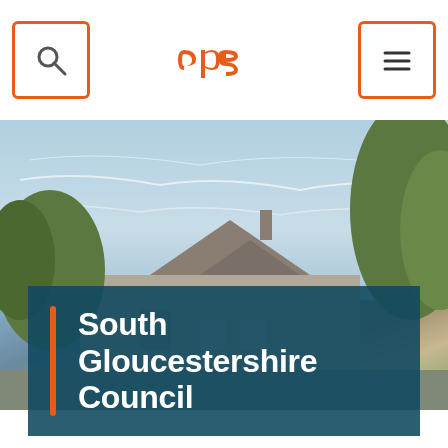[Figure (screenshot): Navigation bar with search icon button on left, CPS orange logo in center, hamburger menu icon button on right]
[Figure (photo): Photograph of a traditional stone building with a sloped roof and trees against a partly cloudy blue sky]
South Gloucestershire Council